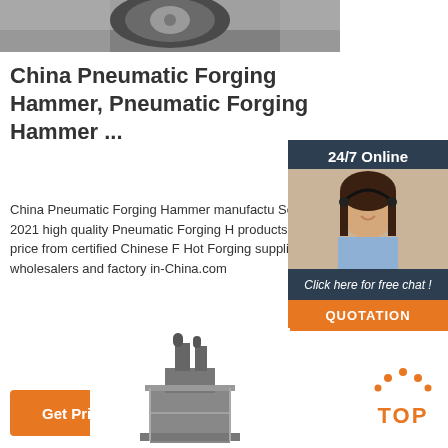[Figure (photo): Close-up photo of a vehicle wheel/tire on a road surface]
China Pneumatic Forging Hammer, Pneumatic Forging Hammer ...
China Pneumatic Forging Hammer manufacturers - Select 2021 high quality Pneumatic Forging Hammer products in best price from certified Chinese Forging, Hot Forging suppliers, wholesalers and factory on made-in-China.com
[Figure (photo): Advertisement panel: 24/7 Online chat support with woman wearing headset; Click here for free chat! QUOTATION button]
Get Price
[Figure (photo): Industrial forging hammer machine illustration at bottom center]
[Figure (logo): TOP logo with orange dots arranged in arc above the word TOP in orange on white background]